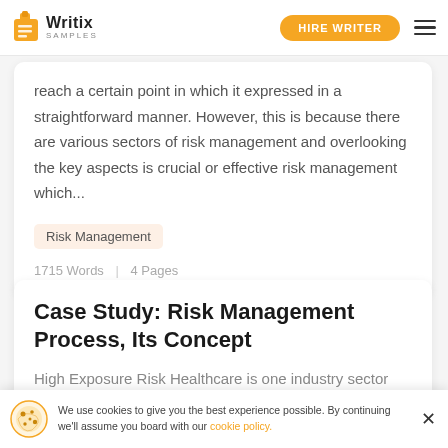Writix Samples | HIRE WRITER
reach a certain point in which it expressed in a straightforward manner. However, this is because there are various sectors of risk management and overlooking the key aspects is crucial or effective risk management which...
Risk Management
1715 Words | 4 Pages
Case Study: Risk Management Process, Its Concept
High Exposure Risk Healthcare is one industry sector tha... su...
We use cookies to give you the best experience possible. By continuing we'll assume you board with our cookie policy.